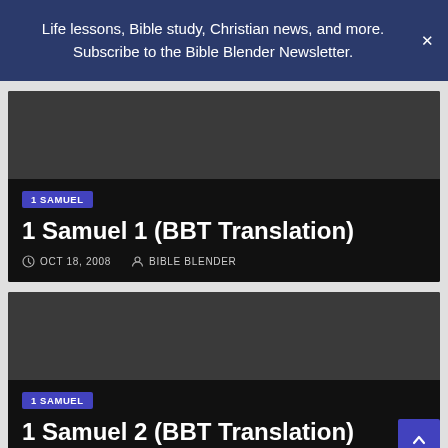Life lessons, Bible study, Christian news, and more. Subscribe to the Bible Blender Newsletter.
[Figure (screenshot): Dark card for '1 Samuel 1 (BBT Translation)' article with dark grey image area, '1 SAMUEL' tag, title, date OCT 18, 2008, and author BIBLE BLENDER]
[Figure (screenshot): Dark card for '1 Samuel 2 (BBT Translation)' article with dark grey image area and '1 SAMUEL' tag, partially visible]